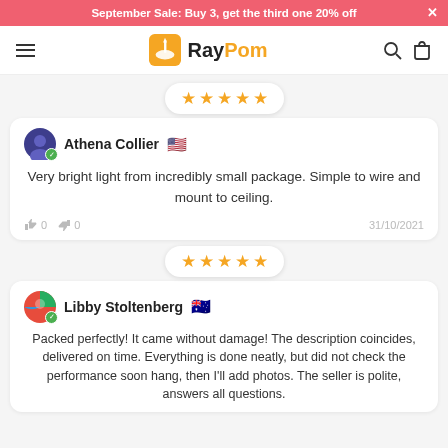September Sale: Buy 3, get the third one 20% off
[Figure (logo): RayPom logo with orange broom icon and text RayPom (Ray in black, Pom in orange)]
[Figure (other): 5-star rating badge (gold stars)]
Athena Collier 🇺🇸
Very bright light from incredibly small package. Simple to wire and mount to ceiling.
0  0  31/10/2021
[Figure (other): 5-star rating badge (gold stars)]
Libby Stoltenberg 🇦🇺
Packed perfectly! It came without damage! The description coincides, delivered on time. Everything is done neatly, but did not check the performance soon hang, then I'll add photos. The seller is polite, answers all questions.